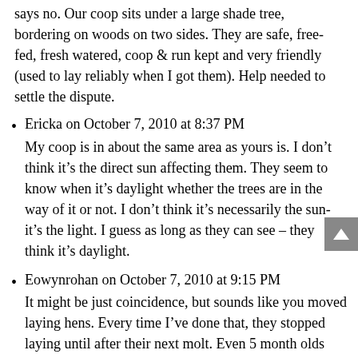says no. Our coop sits under a large shade tree, bordering on woods on two sides. They are safe, free-fed, fresh watered, coop & run kept and very friendly (used to lay reliably when I got them). Help needed to settle the dispute.
Ericka on October 7, 2010 at 8:37 PM
My coop is in about the same area as yours is. I don't think it's the direct sun affecting them. They seem to know when it's daylight whether the trees are in the way of it or not. I don't think it's necessarily the sun-it's the light. I guess as long as they can see – they think it's daylight.
Eowynrohan on October 7, 2010 at 9:15 PM
It might be just coincidence, but sounds like you moved laying hens. Every time I've done that, they stopped laying until after their next molt. Even 5 month olds that had just started to